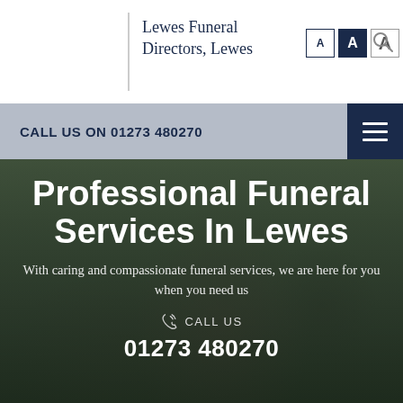Lewes Funeral Directors, Lewes
CALL US ON 01273 480270
Professional Funeral Services In Lewes
With caring and compassionate funeral services, we are here for you when you need us
CALL US
01273 480270